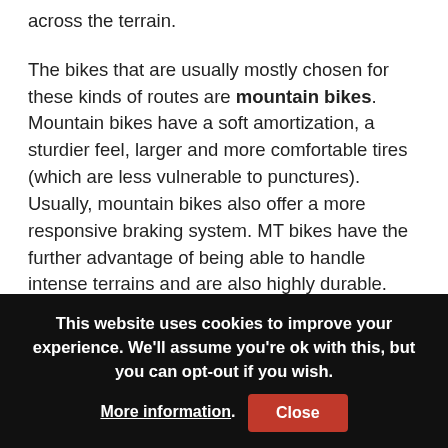across the terrain.
The bikes that are usually mostly chosen for these kinds of routes are mountain bikes. Mountain bikes have a soft amortization, a sturdier feel, larger and more comfortable tires (which are less vulnerable to punctures). Usually, mountain bikes also offer a more responsive braking system. MT bikes have the further advantage of being able to handle intense terrains and are also highly durable.
Although a Mountain Bike, particularly full suspension bikes, will feel heavy, (especially in a city context) my advice would be to put on a 29" wheel, which will allow you to
This website uses cookies to improve your experience. We'll assume you're ok with this, but you can opt-out if you wish. More information. Close